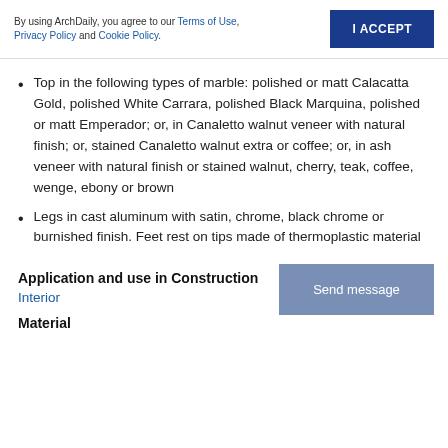By using ArchDaily, you agree to our Terms of Use, Privacy Policy and Cookie Policy.
Top in the following types of marble: polished or matt Calacatta Gold, polished White Carrara, polished Black Marquina, polished or matt Emperador; or, in Canaletto walnut veneer with natural finish; or, stained Canaletto walnut extra or coffee; or, in ash veneer with natural finish or stained walnut, cherry, teak, coffee, wenge, ebony or brown
Legs in cast aluminum with satin, chrome, black chrome or burnished finish. Feet rest on tips made of thermoplastic material
Application and use in Construction
Interior
Material